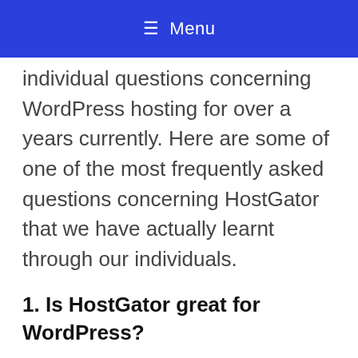≡ Menu
individual questions concerning WordPress hosting for over a years currently. Here are some of one of the most frequently asked questions concerning HostGator that we have actually learnt through our individuals.
1. Is HostGator great for WordPress?
Yes, HostGator benefits WordPress as well as extremely recommended for any